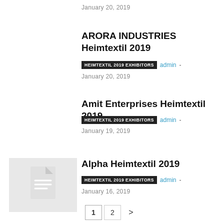January 20, 2019
ARORA INDUSTRIES Heimtextil 2019
HEIMTEXTIL 2019 EXHIBITORS   admin -   January 20, 2019
Amit Enterprises Heimtextil 2019
HEIMTEXTIL 2019 EXHIBITORS   admin -   January 19, 2019
[Figure (illustration): Document thumbnail icon with white lines on light gray background]
Alpha Heimtextil 2019
HEIMTEXTIL 2019 EXHIBITORS   admin -   January 16, 2019
1   2   >